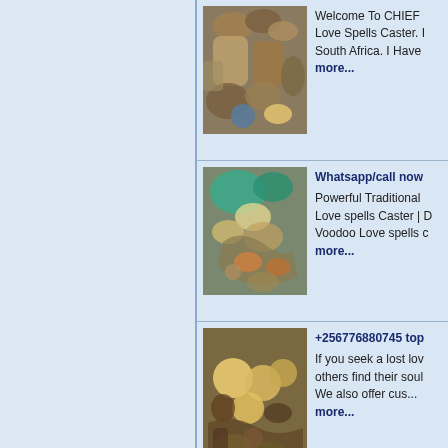[Figure (photo): Photo of traditional African herbs, shells, and natural items in baskets and containers]
Welcome To CHIEF Love Spells Caster. I South Africa. I Have more...
[Figure (photo): Photo of traditional African spiritual items including teal cloth, shells, eggs, and natural materials]
Whatsapp/call now Powerful Traditional Love spells Caster | D Voodoo Love spells c more...
[Figure (photo): Photo of eggs, seeds, and traditional herbal items mixed together]
+256776880745 top If you seek a lost lov others find their soul We also offer cus... more...